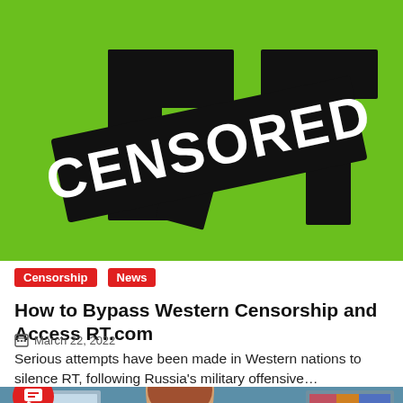[Figure (illustration): Green background with black RT logo partially visible, overlaid with a large black diagonal stamp-style banner reading CENSORED in white bold text]
Censorship | News
How to Bypass Western Censorship and Access RT.com
March 22, 2022
Serious attempts have been made in Western nations to silence RT, following Russia's military offensive…
[Figure (photo): Partial view of a photo showing a woman with reddish-brown hair in front of framed artwork on a teal wall, with a red chat button overlay and red scroll-up arrow button]